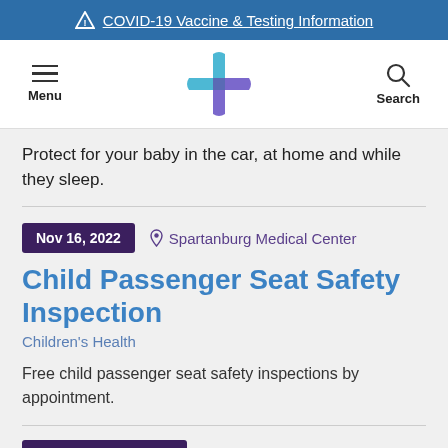⚠ COVID-19 Vaccine & Testing Information
[Figure (logo): Healthcare organization navigation bar with hamburger menu, cross/plus logo in blue and purple, and search icon]
Protect for your baby in the car, at home and while they sleep.
Nov 16, 2022  📍 Spartanburg Medical Center
Child Passenger Seat Safety Inspection
Children's Health
Free child passenger seat safety inspections by appointment.